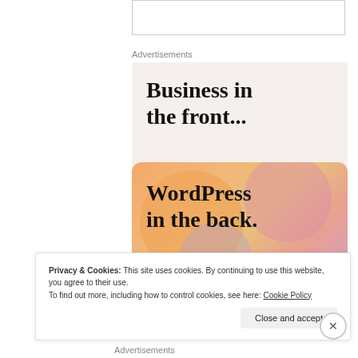[Figure (other): Empty white box outline at top of page]
Advertisements
[Figure (illustration): WordPress advertisement. Top half shows 'Business in the front...' text on light beige background. Bottom half shows 'WordPress in the back.' text on colorful gradient background with orange, pink, and purple bubble shapes.]
Privacy & Cookies: This site uses cookies. By continuing to use this website, you agree to their use.
To find out more, including how to control cookies, see here: Cookie Policy
Advertisements